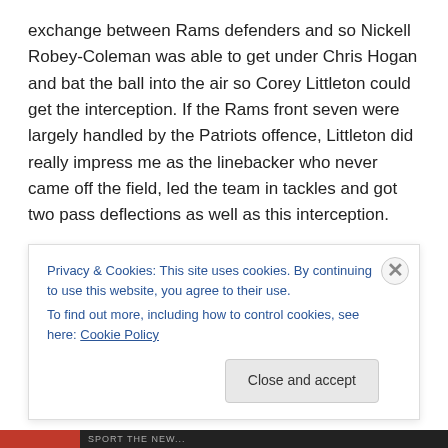exchange between Rams defenders and so Nickell Robey-Coleman was able to get under Chris Hogan and bat the ball into the air so Corey Littleton could get the interception. If the Rams front seven were largely handled by the Patriots offence, Littleton did really impress me as the linebacker who never came off the field, led the team in tackles and got two pass deflections as well as this interception.

If anything won this game for the Patriots, it was a late game adjustment on offence that I have seen the Patriots
Privacy & Cookies: This site uses cookies. By continuing to use this website, you agree to their use.
To find out more, including how to control cookies, see here: Cookie Policy
Close and accept